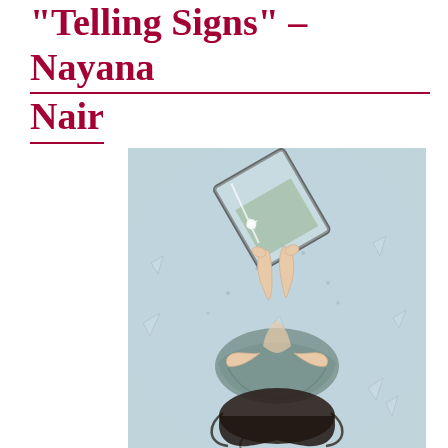"Telling Signs" – Nayana Nair
[Figure (illustration): Illustration of a figure in a grey-green dress falling or floating underwater, legs raised upward, dark hair spread out below, surrounded by scattered shards of broken glass. Above the figure is a broken glass jar or container falling, with glass fragments floating around in a pale blue-grey water background.]